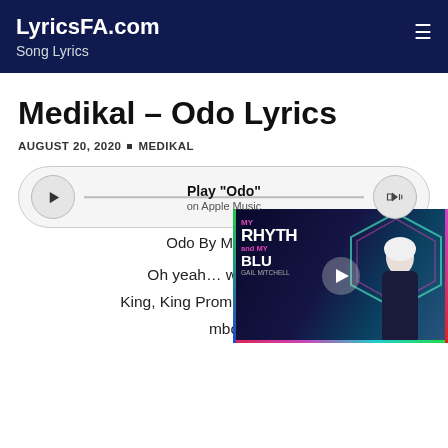LyricsFA.com — Song Lyrics
Medikal – Odo Lyrics
AUGUST 20, 2020 • MEDIKAL
[Figure (other): Apple Music play bar for song 'Odo' with play button on left, volume button on right, and text 'Play "Odo" on Apple Music' in center]
Odo By Medikal
Oh yeah… wwowowo.
King, King Promise. Beyond K
mbo
[Figure (screenshot): Video thumbnail of 'My Rhythm and My Blues' show with Gail Mitchell, showing a woman with white hair in dark clothing against a blue studio background, with colorful hexagonal border and play button overlay]